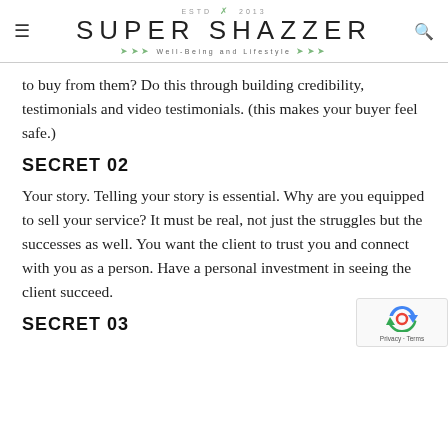ESTD × 2013 SUPER SHAZZER Well-Being and Lifestyle
to buy from them? Do this through building credibility, testimonials and video testimonials. (this makes your buyer feel safe.)
SECRET 02
Your story. Telling your story is essential. Why are you equipped to sell your service? It must be real, not just the struggles but the successes as well. You want the client to trust you and connect with you as a person. Have a personal investment in seeing the client succeed.
SECRET 03